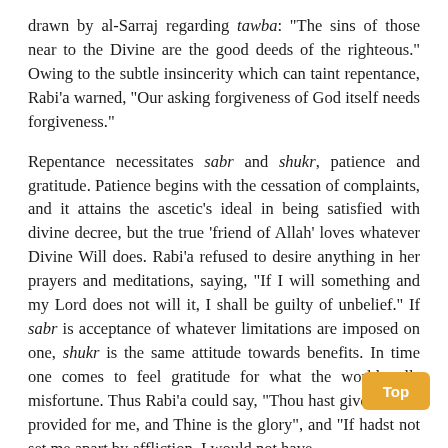drawn by al-Sarraj regarding tawba: "The sins of those near to the Divine are the good deeds of the righteous." Owing to the subtle insincerity which can taint repentance, Rabi'a warned, "Our asking forgiveness of God itself needs forgiveness."
Repentance necessitates sabr and shukr, patience and gratitude. Patience begins with the cessation of complaints, and it attains the ascetic's ideal in being satisfied with divine decree, but the true 'friend of Allah' loves whatever Divine Will does. Rabi'a refused to desire anything in her prayers and meditations, saying, "If I will something and my Lord does not will it, I shall be guilty of unbelief." If sabr is acceptance of whatever limitations are imposed on one, shukr is the same attitude towards benefits. In time one comes to feel gratitude for what the world calls misfortune. Thus Rabi'a could say, "Thou hast given me lif provided for me, and Thine is the glory", and "If hadst not set me apart by affliction, I would not have